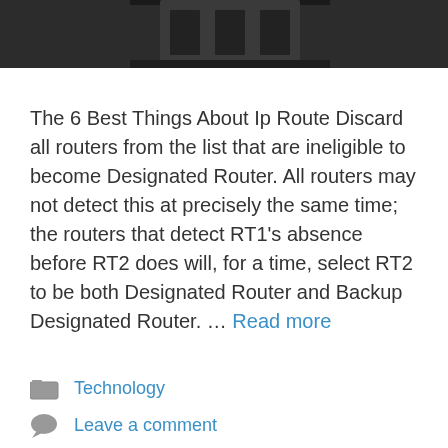[Figure (photo): Partial top of photo showing dark/black networking or electronic equipment on a dark surface]
The 6 Best Things About Ip Route Discard all routers from the list that are ineligible to become Designated Router. All routers may not detect this at precisely the same time; the routers that detect RT1's absence before RT2 does will, for a time, select RT2 to be both Designated Router and Backup Designated Router. … Read more
Technology
Leave a comment